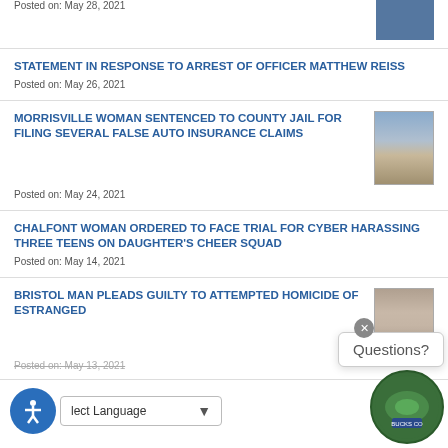Posted on: May 28, 2021
STATEMENT IN RESPONSE TO ARREST OF OFFICER MATTHEW REISS
Posted on: May 26, 2021
MORRISVILLE WOMAN SENTENCED TO COUNTY JAIL FOR FILING SEVERAL FALSE AUTO INSURANCE CLAIMS
Posted on: May 24, 2021
CHALFONT WOMAN ORDERED TO FACE TRIAL FOR CYBER HARASSING THREE TEENS ON DAUGHTER'S CHEER SQUAD
Posted on: May 14, 2021
BRISTOL MAN PLEADS GUILTY TO ATTEMPTED HOMICIDE OF ESTRANGED
Posted on: May 13, 2021